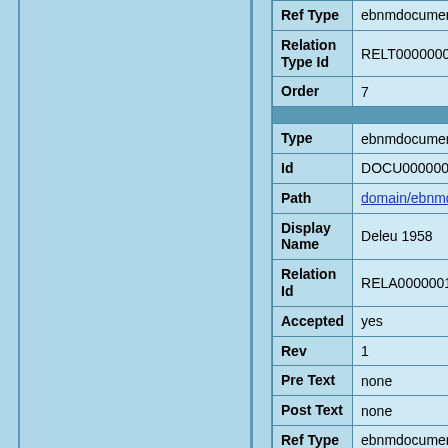| Field | Value |
| --- | --- |
| Ref Type | ebnmdocumentati |
| Relation Type Id | RELT0000000000 |
| Order | 7 |
| Type | ebnmdocumentati |
| Id | DOCU000000004 |
| Path | domain/ebnmdocu |
| Display Name | Deleu 1958 |
| Relation Id | RELA000000114 |
| Accepted | yes |
| Rev | 1 |
| Pre Text | none |
| Post Text | none |
| Ref Type | ebnmdocumentati |